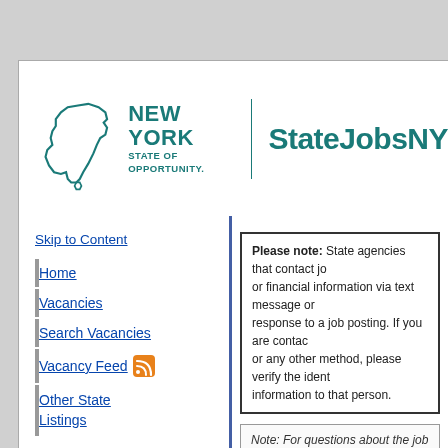[Figure (logo): New York State of Opportunity logo with outline of NY state shape, and StateJobsNY site title in teal]
Skip to Content
Home
Vacancies
Search Vacancies
Vacancy Feed
Other State Listings
Helpful Links
Please note: State agencies that contact job seekers or financial information via text message or in response to a job posting. If you are contacted or any other method, please verify the identity information to that person.
Note: For questions about the job posting, please contact the position by using the contact information provided.
Review Vacancy
| Field |  | Value |
| --- | --- | --- |
| Date Posted | ? | 05/02/22 |
| Application | ? |  |